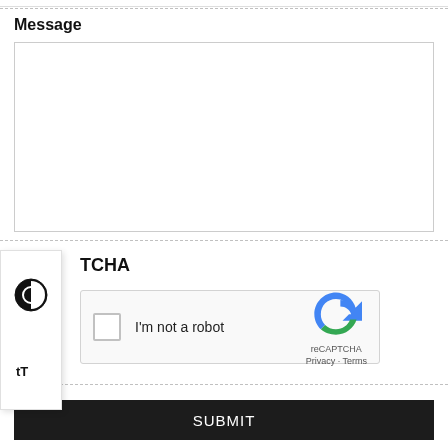Message
[Figure (screenshot): Empty textarea input box for message entry]
[Figure (screenshot): Accessibility overlay panel with contrast and text-size icons]
TCHA
[Figure (screenshot): reCAPTCHA widget with checkbox labeled I'm not a robot, reCAPTCHA logo, Privacy and Terms links]
[Figure (screenshot): SUBMIT button, dark background with white text]